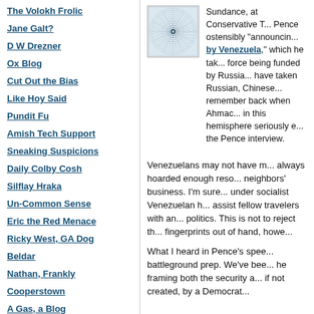The Volokh Frolic
Jane Galt?
D W Drezner
Ox Blog
Cut Out the Bias
Like Hoy Said
Pundit Fu
Amish Tech Support
Sneaking Suspicions
Daily Colby Cosh
Silflay Hraka
Un-Common Sense
Eric the Red Menace
Ricky West, GA Dog
Beldar
Nathan, Frankly
Cooperstown
A Gas, a Blog
[Figure (illustration): Circular spiral/geometric pattern in light blue and gray tones, resembling a decorative avatar or profile image icon]
Sundance, at Conservative T... Pence ostensibly "announcin... by Venezuela," which he tak... force being funded by Russia... have taken Russian, Chinese... remember back when Ahmac... in this hemisphere seriously e... the Pence interview.
Venezuelans may not have m... always hoarded enough reso... neighbors' business. I'm sure... under socialist Venezuelan h... assist fellow travelers with an... politics. This is not to reject th... fingerprints out of hand, howe...
What I heard in Pence's spee... battleground prep. We've bee... he framing both the security a... if not created, by a Democrat...